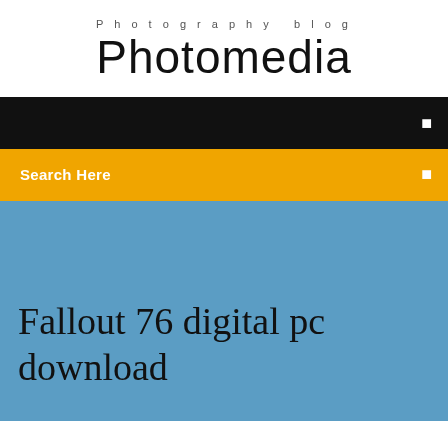Photography blog
Photomedia
Search Here
Fallout 76 digital pc download